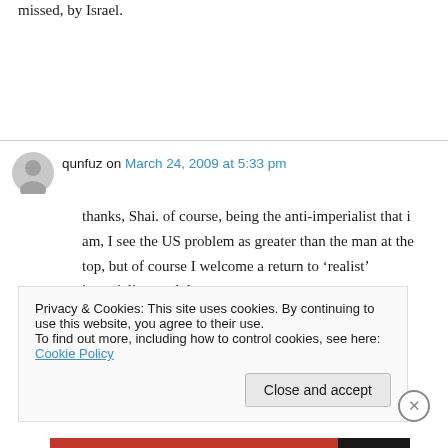missed, by Israel.
qunfuz on March 24, 2009 at 5:33 pm
thanks, Shai. of course, being the anti-imperialist that i am, I see the US problem as greater than the man at the top, but of course I welcome a return to ‘realist’ imperialism and the
Privacy & Cookies: This site uses cookies. By continuing to use this website, you agree to their use.
To find out more, including how to control cookies, see here: Cookie Policy
Close and accept